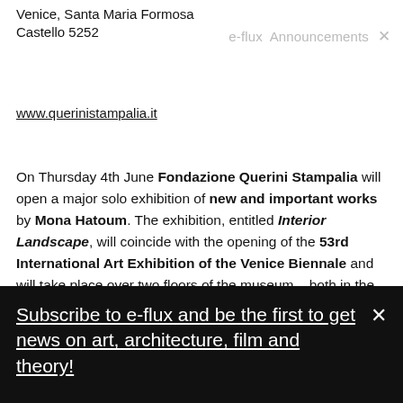Venice, Santa Maria Formosa
Castello 5252
e-flux Announcements ×
www.querinistampalia.it
On Thursday 4th June Fondazione Querini Stampalia will open a major solo exhibition of new and important works by Mona Hatoum. The exhibition, entitled Interior Landscape, will coincide with the opening of the 53rd International Art Exhibition of the Venice Biennale and will take place over two floors of the museum – both in the contemporary exhibition spaces as well as within the existing Museum collection in this historic building, formerly the home of the Querini Stampalia
Subscribe to e-flux and be the first to get news on art, architecture, film and theory!